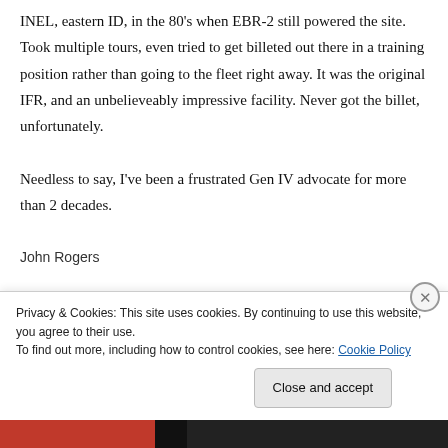INEL, eastern ID, in the 80's when EBR-2 still powered the site. Took multiple tours, even tried to get billeted out there in a training position rather than going to the fleet right away. It was the original IFR, and an unbelieveably impressive facility. Never got the billet, unfortunately.

Needless to say, I've been a frustrated Gen IV advocate for more than 2 decades.
John Rogers
Privacy & Cookies: This site uses cookies. By continuing to use this website, you agree to their use.
To find out more, including how to control cookies, see here: Cookie Policy
Close and accept